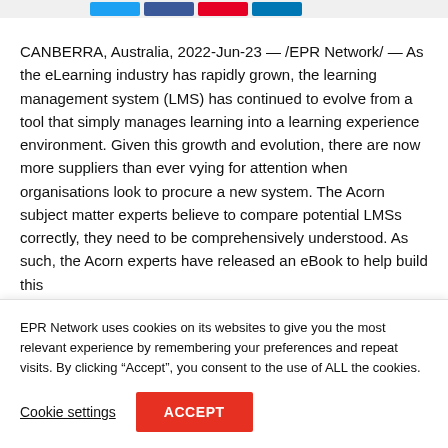[Figure (other): Social media share buttons: Twitter (blue), Facebook (dark blue), Pinterest (red), LinkedIn (light blue)]
CANBERRA, Australia, 2022-Jun-23 — /EPR Network/ — As the eLearning industry has rapidly grown, the learning management system (LMS) has continued to evolve from a tool that simply manages learning into a learning experience environment. Given this growth and evolution, there are now more suppliers than ever vying for attention when organisations look to procure a new system. The Acorn subject matter experts believe to compare potential LMSs correctly, they need to be comprehensively understood. As such, the Acorn experts have released an eBook to help build this
EPR Network uses cookies on its websites to give you the most relevant experience by remembering your preferences and repeat visits. By clicking “Accept”, you consent to the use of ALL the cookies.
Cookie settings
ACCEPT